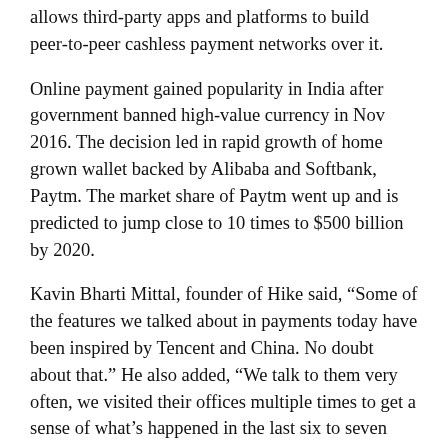allows third-party apps and platforms to build peer-to-peer cashless payment networks over it.
Online payment gained popularity in India after government banned high-value currency in Nov 2016. The decision led in rapid growth of home grown wallet backed by Alibaba and Softbank, Paytm. The market share of Paytm went up and is predicted to jump close to 10 times to $500 billion by 2020.
Kavin Bharti Mittal, founder of Hike said, “Some of the features we talked about in payments today have been inspired by Tencent and China. No doubt about that.” He also added, “We talk to them very often, we visited their offices multiple times to get a sense of what’s happened in the last six to seven years in China.”
According to Mittal, It’s a very important thing because we still believe India’s about four to five years behind China. Hike has partnered with Indian private sector lender Yes Bank to facilitate money transfers to banks using the UPI system.
Hike was launched in December 2012 by Mittal, and has